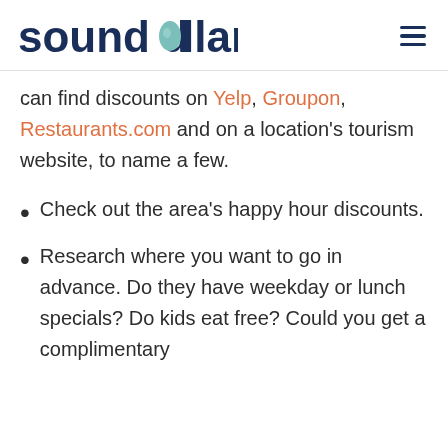sound dollar
can find discounts on Yelp, Groupon, Restaurants.com and on a location's tourism website, to name a few.
Check out the area's happy hour discounts.
Research where you want to go in advance. Do they have weekday or lunch specials? Do kids eat free? Could you get a complimentary